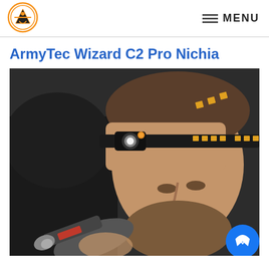MENU
ArmyTec Wizard C2 Pro Nichia
[Figure (photo): A man wearing an ArmyTek Wizard C2 Pro headlamp on his forehead, using a power drill. The headlamp has a black body with orange/gold accents on the strap. The man has a beard and is looking down at his work.]